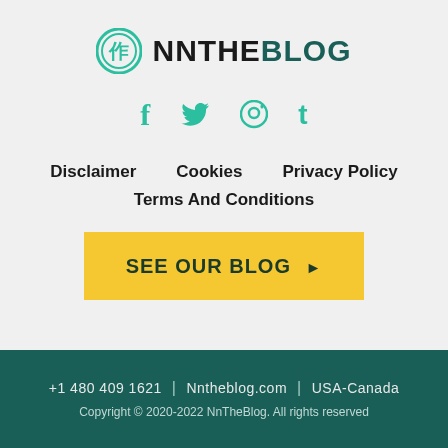[Figure (logo): NNTheBlog logo with circular icon and bold text]
[Figure (infographic): Social media icons: f (Facebook), bird (Twitter), pin (Pinterest), t (Tumblr) in teal color]
Disclaimer
Cookies
Privacy Policy
Terms And Conditions
SEE OUR BLOG ▶
+1 480 409 1621  |  Nntheblog.com  |  USA-Canada
Copyright © 2020-2022 NnTheBlog. All rights reserved